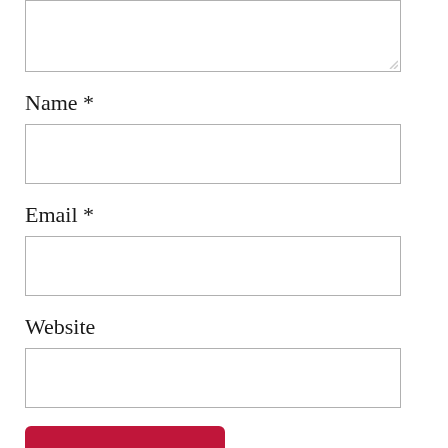[Figure (screenshot): Textarea input box (comment field, partially visible at top of page) with resize handle at bottom-right corner]
Name *
[Figure (screenshot): Name text input field, empty, with border]
Email *
[Figure (screenshot): Email text input field, empty, with border]
Website
[Figure (screenshot): Website text input field, empty, with border]
Post Comment